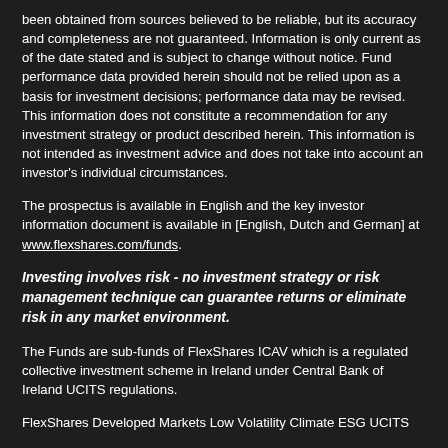been obtained from sources believed to be reliable, but its accuracy and completeness are not guaranteed. Information is only current as of the date stated and is subject to change without notice. Fund performance data provided herein should not be relied upon as a basis for investment decisions; performance data may be revised. This information does not constitute a recommendation for any investment strategy or product described herein. This information is not intended as investment advice and does not take into account an investor's individual circumstances.
The prospectus is available in English and the key investor information document is available in [English, Dutch and German] at www.flexshares.com/funds.
Investing involves risk - no investment strategy or risk management technique can guarantee returns or eliminate risk in any market environment.
The Funds are sub-funds of FlexShares ICAV which is a regulated collective investment scheme in Ireland under Central Bank of Ireland UCITS regulations.
FlexShares Developed Markets Low Volatility Climate ESG UCITS